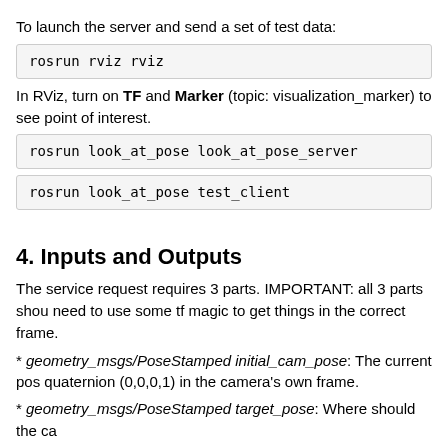To launch the server and send a set of test data:
rosrun rviz rviz
In RViz, turn on TF and Marker (topic: visualization_marker) to see point of interest.
rosrun look_at_pose look_at_pose_server
rosrun look_at_pose test_client
4. Inputs and Outputs
The service request requires 3 parts. IMPORTANT: all 3 parts should need to use some tf magic to get things in the correct frame.
* geometry_msgs/PoseStamped initial_cam_pose: The current pose quaternion (0,0,0,1) in the camera's own frame.
* geometry_msgs/PoseStamped target_pose: Where should the ca
* geometry_msgs/Vector3Stamped up: A vector that defines "UP." (0,0,1)